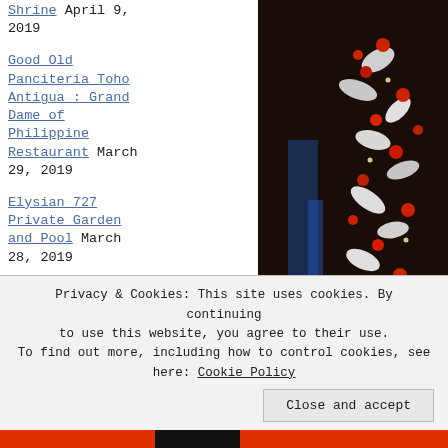Shrine April 9, 2019
Good Old Panciteria Toho Antigua : Grand Dame of Philippine Restaurant March 29, 2019
Elysian 727 Private Garden and Pool March 28, 2019
[Figure (photo): Photo of a floral decoration with red roses and white silver leaves/ornaments against a dark background with blue lighting]
FlagCounter
Privacy & Cookies: This site uses cookies. By continuing to use this website, you agree to their use. To find out more, including how to control cookies, see here: Cookie Policy
Close and accept